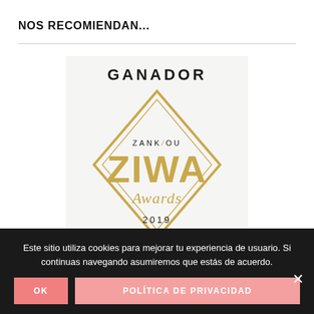NOS RECOMIENDAN...
[Figure (logo): Zankyou ZIWA Awards 2019 Ganador badge — gold diamond shape with text GANADOR at top, ZANKYOU inside, ZIWA Awards in stylized gold lettering, and 2019 at bottom]
Este sitio utiliza cookies para mejorar tu experiencia de usuario. Si continuas navegando asumiremos que estás de acuerdo.
OK
POLÍTICA DE PRIVACIDAD